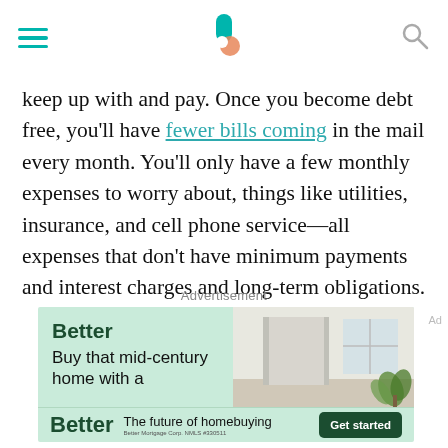[navigation header with hamburger menu, logo, and search icon]
keep up with and pay. Once you become debt free, you'll have fewer bills coming in the mail every month. You'll only have a few monthly expenses to worry about, things like utilities, insurance, and cell phone service—all expenses that don't have minimum payments and interest charges and long-term obligations.
Advertisement
[Figure (other): Advertisement banner for Better mortgage company showing 'Buy that mid-century home with a' text and a room interior photo, with a bottom strip showing 'Better - The future of homebuying' with a dark green Get started button. Better Mortgage Corp. NMLS #330511.]